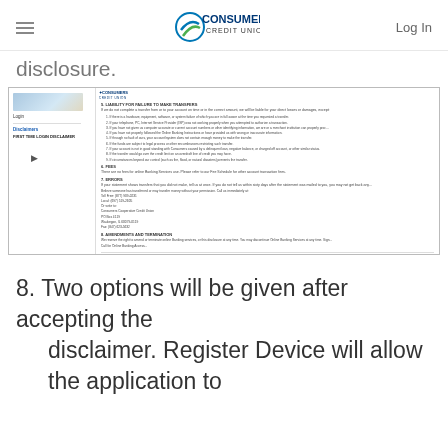Consumers Credit Union — Log In
disclosure.
[Figure (screenshot): Screenshot of Consumers Credit Union online banking page showing the First Time Login Disclaimer screen with login options on the left sidebar, disclaimer text with numbered liability items in the main content area, and two buttons at the bottom: 'I Do Not Accept' and 'I Accept'.]
8. Two options will be given after accepting the disclaimer. Register Device will allow the application to